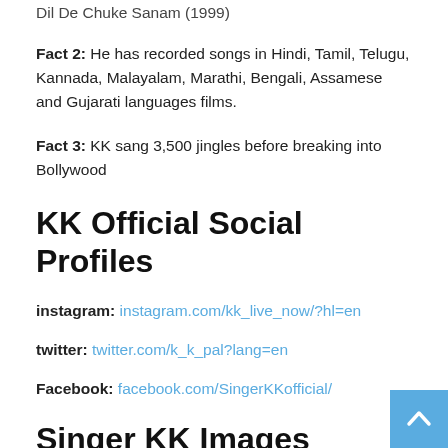Dil De Chuke Sanam (1999)
Fact 2: He has recorded songs in Hindi, Tamil, Telugu, Kannada, Malayalam, Marathi, Bengali, Assamese and Gujarati languages films.
Fact 3: KK sang 3,500 jingles before breaking into Bollywood
KK Official Social Profiles
instagram: instagram.com/kk_live_now/?hl=en
twitter: twitter.com/k_k_pal?lang=en
Facebook: facebook.com/SingerKKofficial/
Singer KK Images